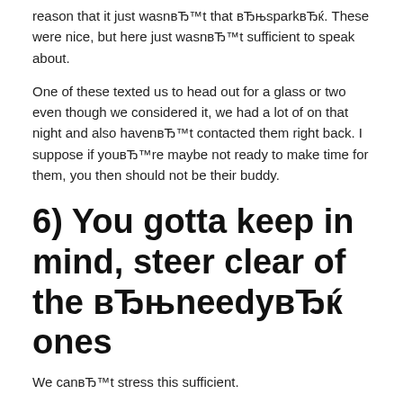reason that it just wasnвЂ™t that вЂњsparkвЂќ. These were nice, but here just wasnвЂ™t sufficient to speak about.
One of these texted us to head out for a glass or two even though we considered it, we had a lot of on that night and also havenвЂ™t contacted them right back. I suppose if youвЂ™re maybe not ready to make time for them, you then should not be their buddy.
6) You gotta keep in mind, steer clear of the вЂњneedyвЂќ ones
We canвЂ™t stress this sufficient.
Because harsh as this could appear, thereвЂ™s a reason many people donвЂ™t have friends that are many. Whenever I had been chatting for www.datingmentor.org/pure-review/ some girls, these people were actually needy, constantly hunting for my validation.
No one wishes friends that are clingy. They have frustrated in the event that you donвЂ™t text them straight back for...